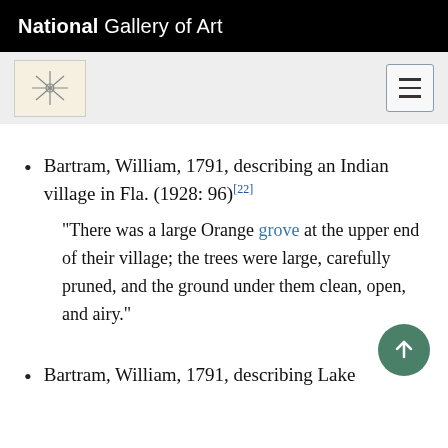National Gallery of Art
Bartram, William, 1791, describing an Indian village in Fla. (1928: 96)[22]
“There was a large Orange grove at the upper end of their village; the trees were large, carefully pruned, and the ground under them clean, open, and airy.”
Bartram, William, 1791, describing Lake